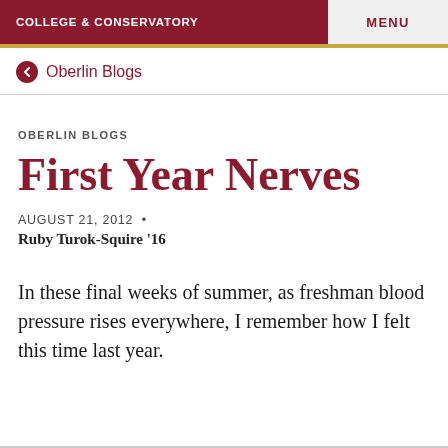COLLEGE & CONSERVATORY | MENU
← Oberlin Blogs
OBERLIN BLOGS
First Year Nerves
AUGUST 21, 2012 • Ruby Turok-Squire '16
In these final weeks of summer, as freshman blood pressure rises everywhere, I remember how I felt this time last year.